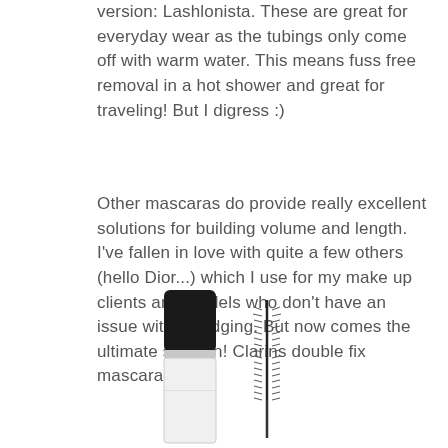version: Lashlonista. These are great for everyday wear as the tubings only come off with warm water. This means fuss free removal in a hot shower and great for traveling! But I digress :)
Other mascaras do provide really excellent solutions for building volume and length. I've fallen in love with quite a few others (hello Dior...) which I use for my make up clients and models who don't have an issue with smudging. But now comes the ultimate solution! Clarins double fix mascara.
[Figure (photo): Photo of a Clarins double fix mascara product showing the black and white tube/bottle alongside the mascara wand/brush]